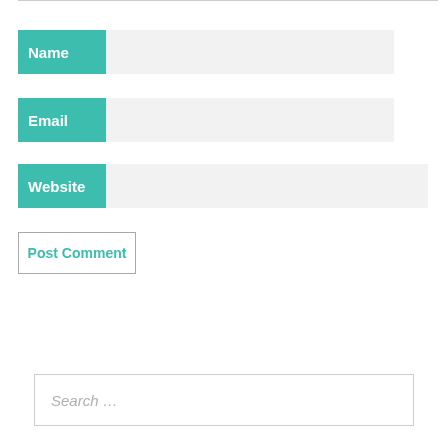Name
Email
Website
Post Comment
Search …